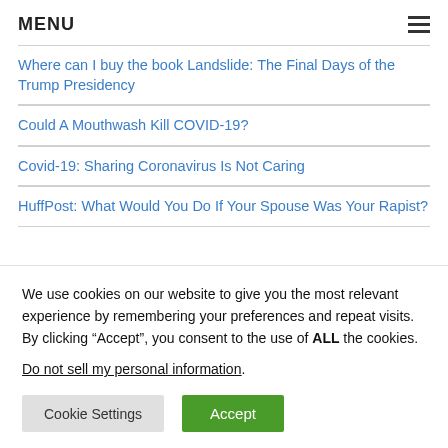MENU
Where can I buy the book Landslide: The Final Days of the Trump Presidency
Could A Mouthwash Kill COVID-19?
Covid-19: Sharing Coronavirus Is Not Caring
HuffPost: What Would You Do If Your Spouse Was Your Rapist?
We use cookies on our website to give you the most relevant experience by remembering your preferences and repeat visits. By clicking “Accept”, you consent to the use of ALL the cookies. Do not sell my personal information.